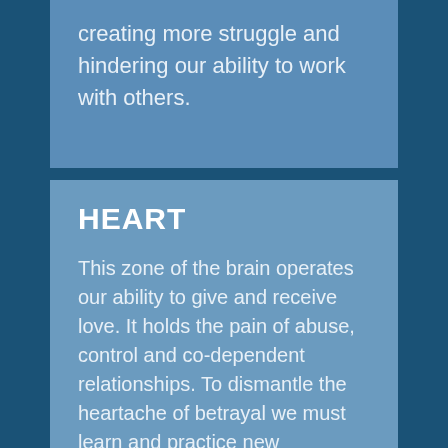creating more struggle and hindering our ability to work with others.
HEART
This zone of the brain operates our ability to give and receive love. It holds the pain of abuse, control and co-dependent relationships. To dismantle the heartache of betrayal we must learn and practice new definitions of love